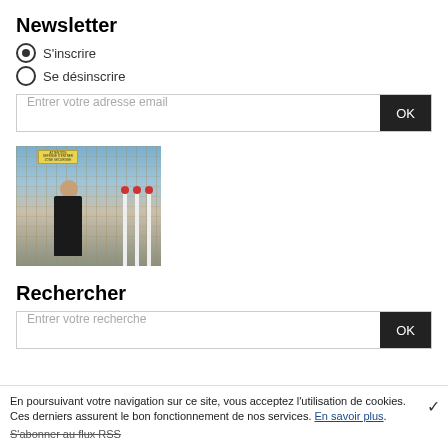Newsletter
S'inscrire
Se désinscrire
Entrer votre adresse email  OK
[Figure (photo): A man in a black shirt standing at a gate/fence with warning sign, industrial poles in background]
Rechercher
Entrer votre recherche  OK
En poursuivant votre navigation sur ce site, vous acceptez l'utilisation de cookies. Ces derniers assurent le bon fonctionnement de nos services. En savoir plus.
S'abonner au flux RSS